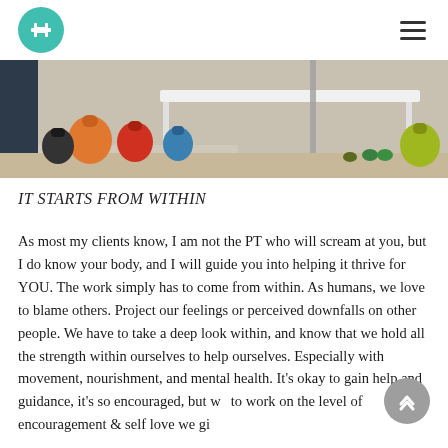Fitness/Health website header with logo and navigation
[Figure (photo): Gym interior showing kettlebells in various colors (yellow, orange, red, teal, black) on a rack, with a white table and barbell equipment in background]
IT STARTS FROM WITHIN
As most my clients know, I am not the PT who will scream at you, but I do know your body, and I will guide you into helping it thrive for YOU. The work simply has to come from within. As humans, we love to blame others. Project our feelings or perceived downfalls on other people. We have to take a deep look within, and know that we hold all the strength within ourselves to help ourselves. Especially with movement, nourishment, and mental health. It's okay to gain help and guidance, it's so encouraged, but we to work on the level of encouragement & self love we give